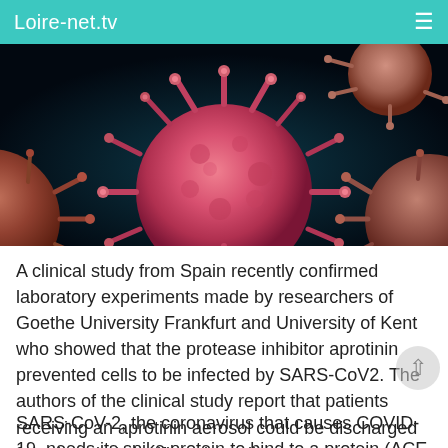Loire-net.tv
[Figure (photo): Close-up 3D rendering of SARS-CoV-2 coronavirus particles, pink/red spiky spheres on a dark blue/black background]
A clinical study from Spain recently confirmed laboratory experiments made by researchers of Goethe University Frankfurt and University of Kent who showed that the protease inhibitor aprotinin prevented cells to be infected by SARS-CoV2. The authors of the clinical study report that patients receiving an aprotinin aerosol could be discharged from hospital significantly earlier.
SARS-CoV-2, the coronavirus that causes COVID-19, needs its spike protein to bind to a protein (ACE receptor) on the